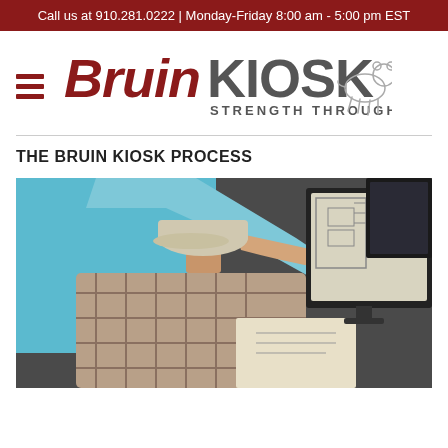Call us at 910.281.0222 | Monday-Friday 8:00 am - 5:00 pm EST
[Figure (logo): Bruin Kiosk logo with polar bear silhouette and tagline 'Strength Through Design']
THE BRUIN KIOSK PROCESS
[Figure (photo): Two people reviewing kiosk design drawings on a computer monitor; one person seated wearing a cap and plaid shirt, another standing pointing at the screen]